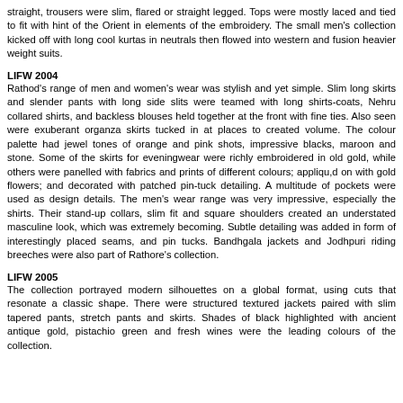straight, trousers were slim, flared or straight legged. Tops were mostly laced and tied to fit with hint of the Orient in elements of the embroidery. The small men's collection kicked off with long cool kurtas in neutrals then flowed into western and fusion heavier weight suits.
LIFW 2004
Rathod's range of men and women's wear was stylish and yet simple. Slim long skirts and slender pants with long side slits were teamed with long shirts-coats, Nehru collared shirts, and backless blouses held together at the front with fine ties. Also seen were exuberant organza skirts tucked in at places to created volume. The colour palette had jewel tones of orange and pink shots, impressive blacks, maroon and stone. Some of the skirts for eveningwear were richly embroidered in old gold, while others were panelled with fabrics and prints of different colours; appliqu,d on with gold flowers; and decorated with patched pin-tuck detailing. A multitude of pockets were used as design details. The men's wear range was very impressive, especially the shirts. Their stand-up collars, slim fit and square shoulders created an understated masculine look, which was extremely becoming. Subtle detailing was added in form of interestingly placed seams, and pin tucks. Bandhgala jackets and Jodhpuri riding breeches were also part of Rathore's collection.
LIFW 2005
The collection portrayed modern silhouettes on a global format, using cuts that resonate a classic shape. There were structured textured jackets paired with slim tapered pants, stretch pants and skirts. Shades of black highlighted with ancient antique gold, pistachio green and fresh wines were the leading colours of the collection.